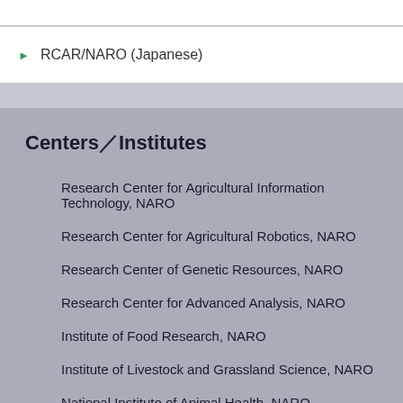RCAR/NARO (Japanese)
Centers／Institutes
Research Center for Agricultural Information Technology, NARO
Research Center for Agricultural Robotics, NARO
Research Center of Genetic Resources, NARO
Research Center for Advanced Analysis, NARO
Institute of Food Research, NARO
Institute of Livestock and Grassland Science, NARO
National Institute of Animal Health, NARO